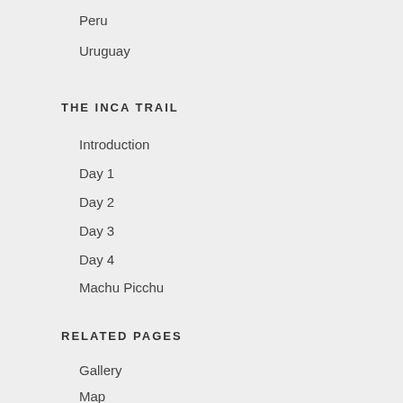Peru
Uruguay
THE INCA TRAIL
Introduction
Day 1
Day 2
Day 3
Day 4
Machu Picchu
RELATED PAGES
Gallery
Map